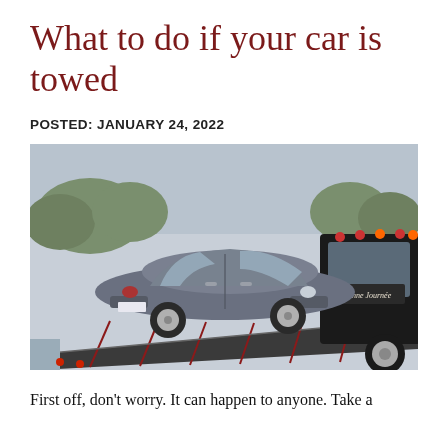What to do if your car is towed
POSTED: JANUARY 24, 2022
[Figure (photo): A gray sedan car being loaded onto a flatbed tow truck. The car is on the tilted flatbed ramp of the truck. Part of the tow truck cab is visible on the right with a sign reading 'Bonne Journee'. The background shows trees and a parking lot.]
First off, don't worry. It can happen to anyone. Take a